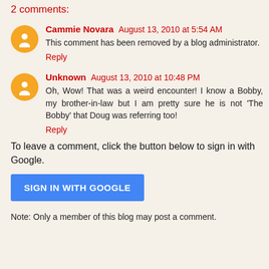2 comments:
Cammie Novara  August 13, 2010 at 5:54 AM
This comment has been removed by a blog administrator.
Reply
Unknown  August 13, 2010 at 10:48 PM
Oh, Wow! That was a weird encounter! I know a Bobby, my brother-in-law but I am pretty sure he is not 'The Bobby' that Doug was referring too!
Reply
To leave a comment, click the button below to sign in with Google.
SIGN IN WITH GOOGLE
Note: Only a member of this blog may post a comment.